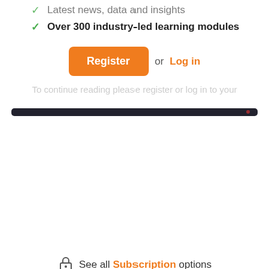Latest news, data and insights
Over 300 industry-led learning modules
Register or Log in
[Figure (screenshot): Dark horizontal bar representing a device/tablet top edge]
See all Subscription options